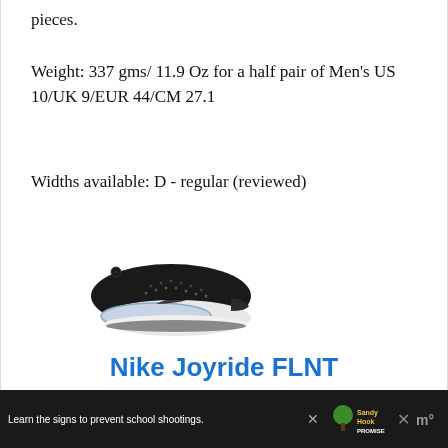pieces.
Weight: 337 gms/ 11.9 Oz for a half pair of Men's US 10/UK 9/EUR 44/CM 27.1
Widths available: D - regular (reviewed)
[Figure (photo): Nike Joyride FLNT running shoe, black upper with white sole and transparent bubble midsole, on white background]
Nike Joyride FLNT
Buy from Nike.com
Learn the signs to prevent school shootings.